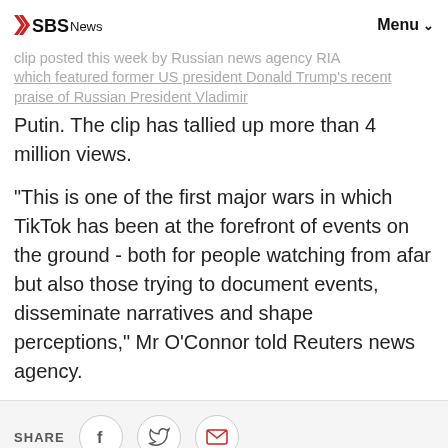SBS News | Menu
clip posted this week by Russian news agency RIA which featured former US president Donald Trump's recent praise of Russian President Vladimir Putin. The clip has tallied up more than 4 million views.
"This is one of the first major wars in which TikTok has been at the forefront of events on the ground - both for people watching from afar but also those trying to document events, disseminate narratives and shape perceptions," Mr O'Connor told Reuters news agency.
SHARE